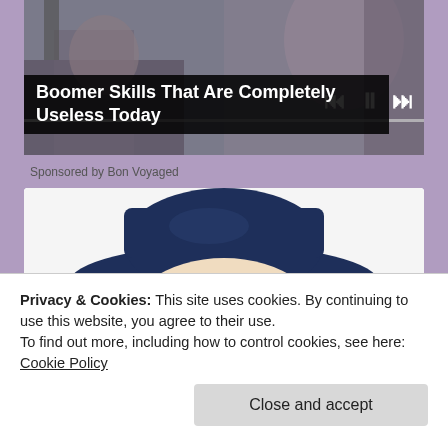[Figure (screenshot): Video player showing blurred photo of people at a conference/event with media control buttons (skip back, pause, skip forward) visible in upper right]
Boomer Skills That Are Completely Useless Today
Sponsored by Bon Voyaged
[Figure (illustration): Illustration of the Quaker Oats man - an elderly man with white hair and a navy/dark blue wide-brimmed hat, smiling]
Privacy & Cookies: This site uses cookies. By continuing to use this website, you agree to their use.
To find out more, including how to control cookies, see here: Cookie Policy
Close and accept